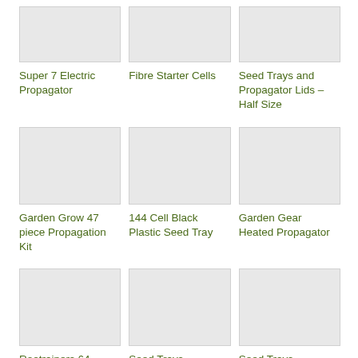[Figure (photo): Product image placeholder for Super 7 Electric Propagator]
Super 7 Electric Propagator
[Figure (photo): Product image placeholder for Fibre Starter Cells]
Fibre Starter Cells
[Figure (photo): Product image placeholder for Seed Trays and Propagator Lids – Half Size]
Seed Trays and Propagator Lids – Half Size
[Figure (photo): Product image placeholder for Garden Grow 47 piece Propagation Kit]
Garden Grow 47 piece Propagation Kit
[Figure (photo): Product image placeholder for 144 Cell Black Plastic Seed Tray]
144 Cell Black Plastic Seed Tray
[Figure (photo): Product image placeholder for Garden Gear Heated Propagator]
Garden Gear Heated Propagator
[Figure (photo): Product image placeholder for Rootrainers 64]
Rootrainers 64
[Figure (photo): Product image placeholder for Seed Trays –]
Seed Trays –
[Figure (photo): Product image placeholder for Seed Trays –]
Seed Trays –